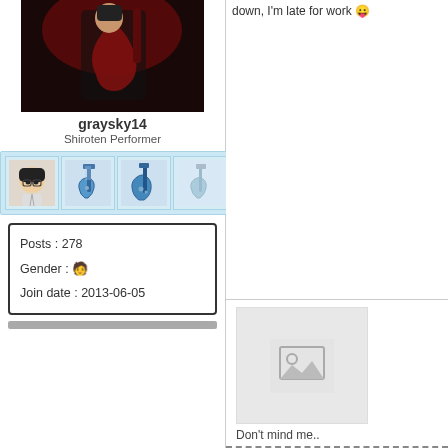[Figure (photo): Profile photo of graysky14, a dark anime-style image with red lighting and a guitar]
graysky14
Shiroten Performer
[Figure (infographic): Badge row with four icons: anime avatar, blue electric guitar, blue bass guitar, faded guitar]
Posts : 278
Gender : [person emoji]
Join date : 2013-06-05
down, I'm late for work 😛
[Figure (photo): Placeholder image icon (grey background with mountain/image symbol)]
Don't mind me..